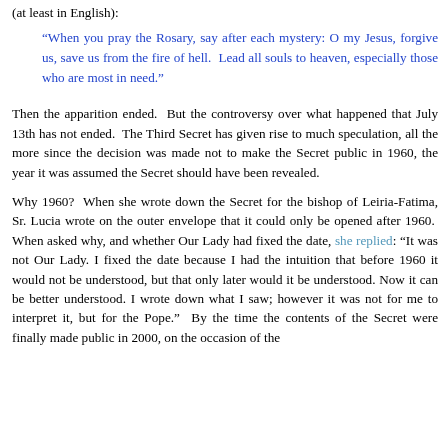(at least in English):
"When you pray the Rosary, say after each mystery: O my Jesus, forgive us, save us from the fire of hell.  Lead all souls to heaven, especially those who are most in need."
Then the apparition ended.  But the controversy over what happened that July 13th has not ended.  The Third Secret has given rise to much speculation, all the more since the decision was made not to make the Secret public in 1960, the year it was assumed the Secret should have been revealed.
Why 1960?  When she wrote down the Secret for the bishop of Leiria-Fatima, Sr. Lucia wrote on the outer envelope that it could only be opened after 1960.  When asked why, and whether Our Lady had fixed the date, she replied: "It was not Our Lady. I fixed the date because I had the intuition that before 1960 it would not be understood, but that only later would it be understood. Now it can be better understood. I wrote down what I saw; however it was not for me to interpret it, but for the Pope."  By the time the contents of the Secret were finally made public in 2000, on the occasion of the